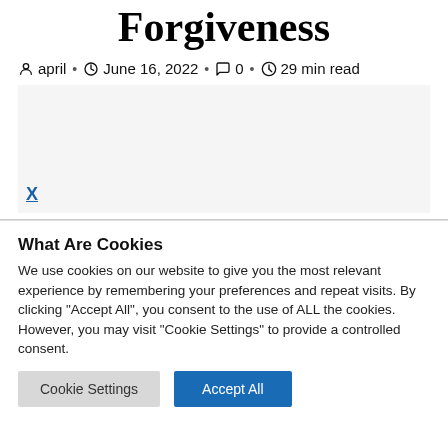Forgiveness
april • June 16, 2022 • 0 • 29 min read
[Figure (other): Advertisement placeholder area with a blue X close button]
What Are Cookies
We use cookies on our website to give you the most relevant experience by remembering your preferences and repeat visits. By clicking "Accept All", you consent to the use of ALL the cookies. However, you may visit "Cookie Settings" to provide a controlled consent.
Cookie Settings | Accept All